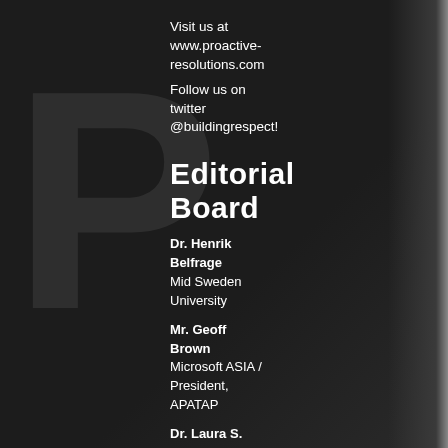Visit us at www.proactive-resolutions.com
Follow us on twitter @buildingrespect!
Editorial Board
Dr. Henrik Belfrage
Mid Sweden University
Mr. Geoff Brown
Microsoft ASIA / President, APATAP
Dr. Laura S. Guy
ProActive ReSolutions Inc.
Mr. Keith Hammond
Vancouver Police Department/ President, CATAP
Dr. Stephen D. Hart
ProActive ReSolutions Inc.
Dr. David James